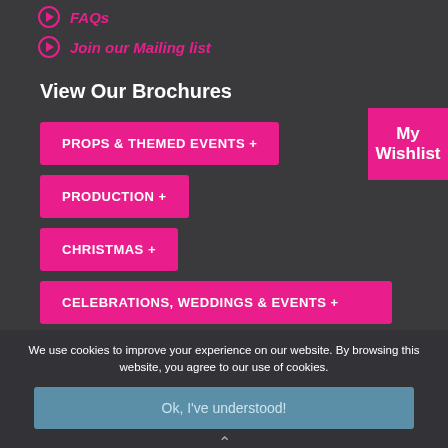FAQs
Join our Mailing list
View Our Brochures
PROPS & THEMED EVENTS +
PRODUCTION +
CHRISTMAS +
CELEBRATIONS, WEDDINGS & EVENTS +
My Wishlist
© 2022 Themes Incorporated Ltd | Terms & Conditions. | Privacy & Cookies Policy | Website by Murdog
We use cookies to improve your experience on our website. By browsing this website, you agree to our use of cookies.
Ok, I've understood!
Decline